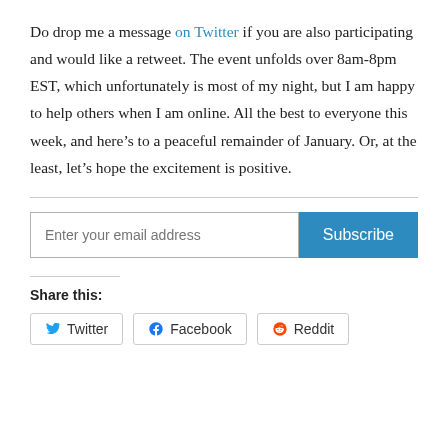Do drop me a message on Twitter if you are also participating and would like a retweet. The event unfolds over 8am-8pm EST, which unfortunately is most of my night, but I am happy to help others when I am online. All the best to everyone this week, and here’s to a peaceful remainder of January. Or, at the least, let’s hope the excitement is positive.
Enter your email address | Subscribe
Share this:
Twitter | Facebook | Reddit